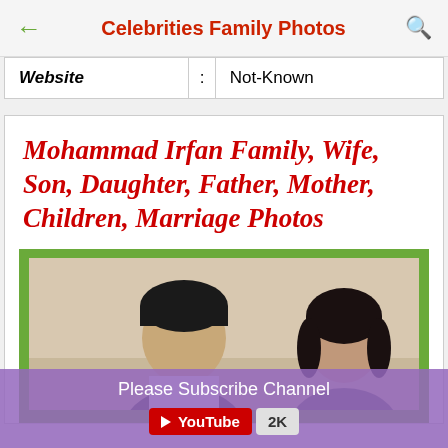Celebrities Family Photos
| Field | : | Value |
| --- | --- | --- |
| Website | : | Not-Known |
Mohammad Irfan Family, Wife, Son, Daughter, Father, Mother, Children, Marriage Photos
[Figure (photo): Photo of Mohammad Irfan with a family member, framed with a green border]
Please Subscribe Channel
YouTube 2K